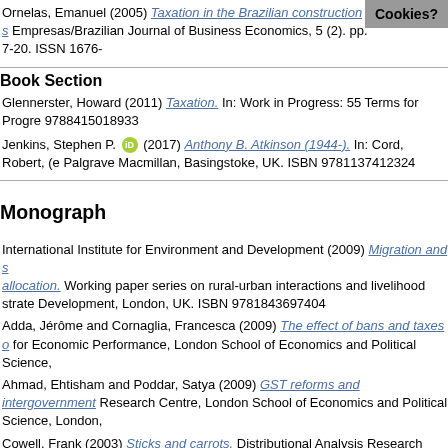Ornelas, Emanuel (2005) Taxation in the Brazilian construction s... Empresas/Brazilian Journal of Business Economics, 5 (2). pp. 7-20. ISSN 1676-
Book Section
Glennerster, Howard (2011) Taxation. In: Work in Progress: 55 Terms for Progre... 9788415018933
Jenkins, Stephen P. [ORCID] (2017) Anthony B. Atkinson (1944-). In: Cord, Robert, (e... Palgrave Macmillan, Basingstoke, UK. ISBN 9781137412324
Monograph
International Institute for Environment and Development (2009) Migration and s... allocation. Working paper series on rural-urban interactions and livelihood strate... Development, London, UK. ISBN 9781843697404
Adda, Jérôme and Cornaglia, Francesca (2009) The effect of bans and taxes o... for Economic Performance, London School of Economics and Political Science,
Ahmad, Ehtisham and Poddar, Satya (2009) GST reforms and intergovernment... Research Centre, London School of Economics and Political Science, London,
Cowell, Frank (2003) Sticks and carrots. Distributional Analysis Research Progr... Centres for Economics and Related Disciplines, London.
D'Ignazio, Alessio and Menon, Carlo (2012) The causal effect of credit guarantee... Papers (SERCDP0123). Spatial Economics Research Centre (SERC), London